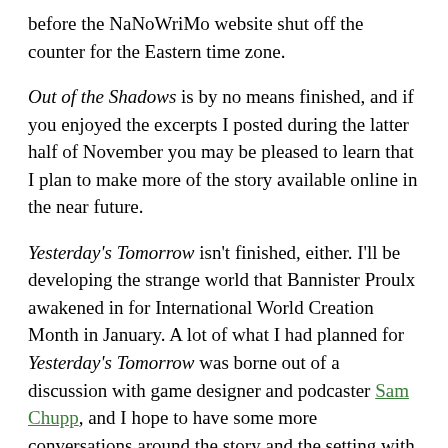before the NaNoWriMo website shut off the counter for the Eastern time zone.
Out of the Shadows is by no means finished, and if you enjoyed the excerpts I posted during the latter half of November you may be pleased to learn that I plan to make more of the story available online in the near future.
Yesterday's Tomorrow isn't finished, either. I'll be developing the strange world that Bannister Proulx awakened in for International World Creation Month in January. A lot of what I had planned for Yesterday's Tomorrow was borne out of a discussion with game designer and podcaster Sam Chupp, and I hope to have some more conversations around the story and the setting with Sam in the near future. Perhaps I can convince him to collaborate with me for IntWoCreMo next month.
Unfortunately, I caught a bit of a cold over Thanksgiving weekend and decided to skip the Jonathan Coulton show last